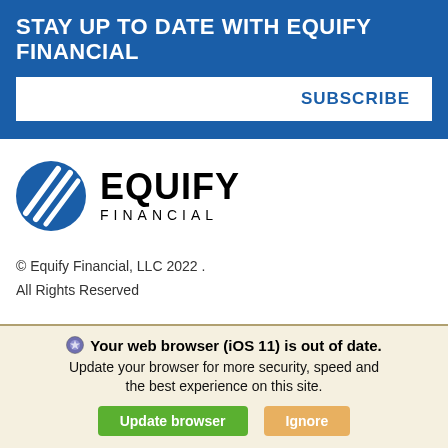STAY UP TO DATE WITH EQUIFY FINANCIAL
[Figure (logo): Equify Financial logo with blue circle containing diagonal white lines and EQUIFY FINANCIAL text in bold]
© Equify Financial, LLC 2022 .
All Rights Reserved
Your web browser (iOS 11) is out of date. Update your browser for more security, speed and the best experience on this site.